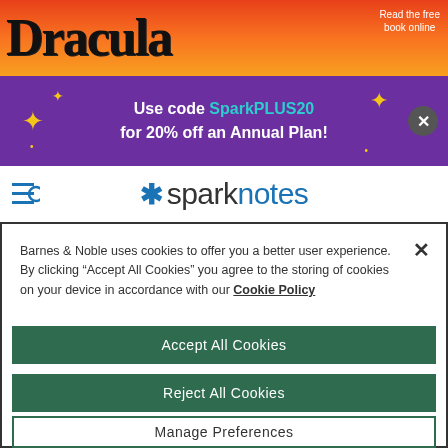[Figure (screenshot): Dracula book banner with orange/red gradient background and gothic title text]
[Figure (screenshot): Purple promotional banner: Use code SparkPLUS20 for 20% off an Annual Plan!]
[Figure (logo): SparkNotes logo with asterisk and blue/dark text]
Barnes & Noble uses cookies to offer you a better user experience. By clicking “Accept All Cookies” you agree to the storing of cookies on your device in accordance with our Cookie Policy
Accept All Cookies
Reject All Cookies
Manage Preferences